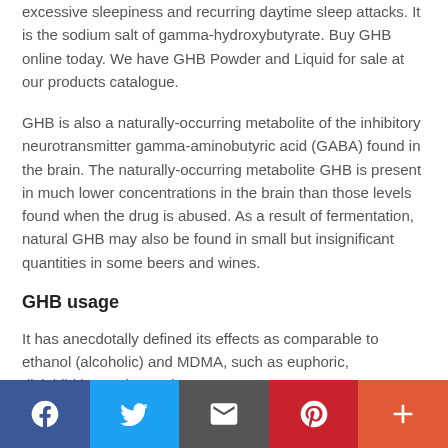excessive sleepiness and recurring daytime sleep attacks. It is the sodium salt of gamma-hydroxybutyrate. Buy GHB online today. We have GHB Powder and Liquid for sale at our products catalogue.
GHB is also a naturally-occurring metabolite of the inhibitory neurotransmitter gamma-aminobutyric acid (GABA) found in the brain. The naturally-occurring metabolite GHB is present in much lower concentrations in the brain than those levels found when the drug is abused. As a result of fermentation, natural GHB may also be found in small but insignificant quantities in some beers and wines.
GHB usage
It has anecdotally defined its effects as comparable to ethanol (alcoholic) and MDMA, such as euphoria, disinhibition, enhanced
[Figure (other): Social sharing bar with Facebook, Twitter, Email, Pinterest, and More buttons]